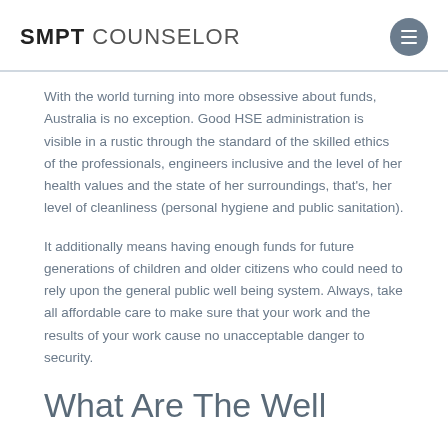SMPT COUNSELOR
With the world turning into more obsessive about funds, Australia is no exception. Good HSE administration is visible in a rustic through the standard of the skilled ethics of the professionals, engineers inclusive and the level of her health values and the state of her surroundings, that's, her level of cleanliness (personal hygiene and public sanitation).
It additionally means having enough funds for future generations of children and older citizens who could need to rely upon the general public well being system. Always, take all affordable care to make sure that your work and the results of your work cause no unacceptable danger to security.
What Are The Well